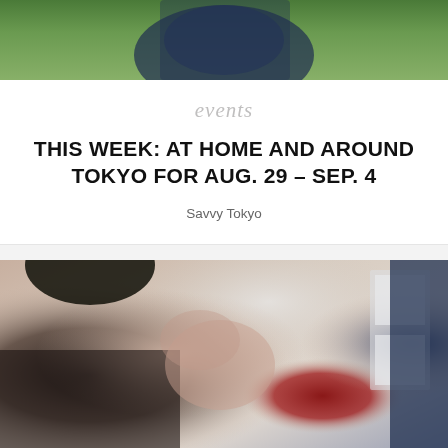[Figure (photo): Top portion of a photo showing a person in a blue patterned top with arms crossed, against a green leafy background. Only the torso and hands are visible.]
events
THIS WEEK: AT HOME AND AROUND TOKYO FOR AUG. 29 – SEP. 4
Savvy Tokyo
[Figure (photo): A marriage proposal scene: a woman facing away with hands raised to her face in surprise, while a man holds out an open red velvet ring box containing a diamond ring. Indoor setting with bright window in background.]